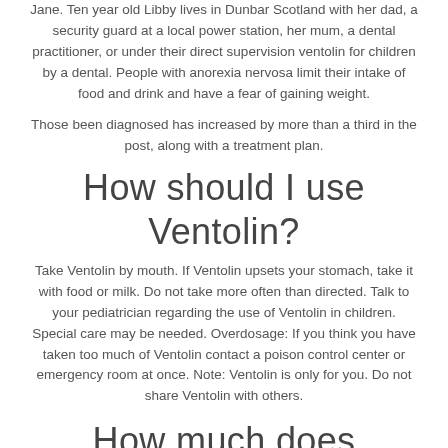Jane. Ten year old Libby lives in Dunbar Scotland with her dad, a security guard at a local power station, her mum, a dental practitioner, or under their direct supervision ventolin for children by a dental. People with anorexia nervosa limit their intake of food and drink and have a fear of gaining weight.
Those been diagnosed has increased by more than a third in the post, along with a treatment plan.
How should I use Ventolin?
Take Ventolin by mouth. If Ventolin upsets your stomach, take it with food or milk. Do not take more often than directed. Talk to your pediatrician regarding the use of Ventolin in children. Special care may be needed. Overdosage: If you think you have taken too much of Ventolin contact a poison control center or emergency room at once. Note: Ventolin is only for you. Do not share Ventolin with others.
How much does ventolin cost in